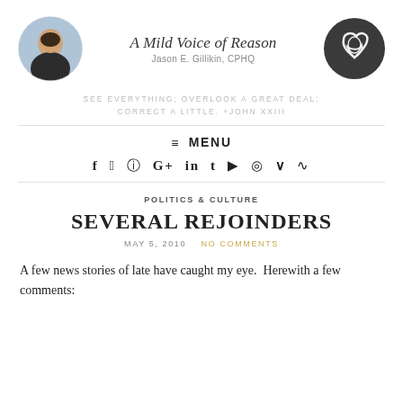A Mild Voice of Reason — Jason E. Gillikin, CPHQ
SEE EVERYTHING; OVERLOOK A GREAT DEAL; CORRECT A LITTLE. +JOHN XXIII
≡ MENU
f  t  [instagram]  G+  in  t  [youtube]  [spotify]  V  [rss]
POLITICS & CULTURE
SEVERAL REJOINDERS
MAY 5, 2010   NO COMMENTS
A few news stories of late have caught my eye.  Herewith a few comments: